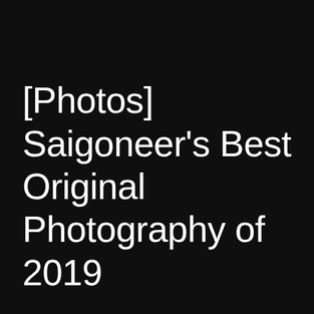[Photos] Saigoneer's Best Original Photography of 2019